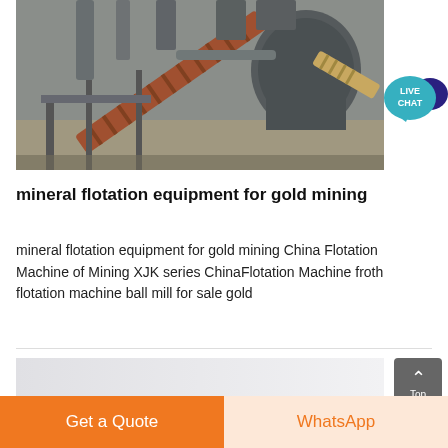[Figure (photo): Industrial mining equipment showing a conveyor/screw feeder apparatus and large machinery components in a factory/industrial setting, gray metallic structures with pipes and mechanical parts.]
mineral flotation equipment for gold mining
mineral flotation equipment for gold mining China Flotation Machine of Mining XJK series ChinaFlotation Machine froth flotation machine ball mill for sale gold
[Figure (photo): Partial view of another equipment image at the bottom of the page, light gray tones, partially visible.]